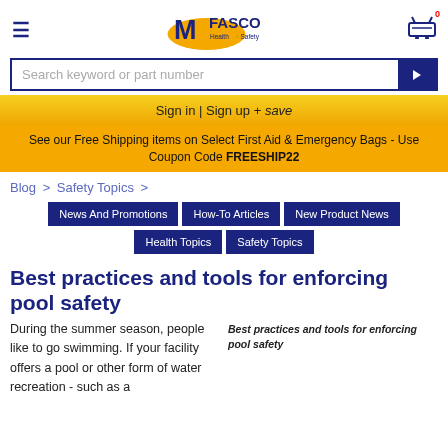[Figure (logo): MFASCO Health & Safety logo with yellow oval and blue text]
Search keyword or part number
Sign in | Sign up + save
See our Free Shipping items on Select First Aid & Emergency Bags - Use Coupon Code FREESHIP22
Blog > Safety Topics >
News And Promotions | How-To Articles | New Product News | Health Topics | Safety Topics
Best practices and tools for enforcing pool safety
During the summer season, people like to go swimming. If your facility offers a pool or other form of water recreation - such as a
Best practices and tools for enforcing pool safety